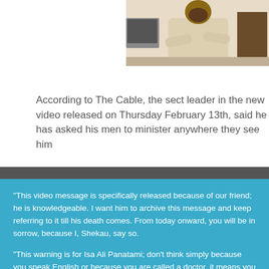[Figure (photo): A man in traditional white/cream patterned garment sitting with arms crossed, office equipment visible in background]
According to The Cable, the sect leader in the new video released on Thursday February 13th, said he has asked his men to minister anywhere they see him
“This video message is specifically released because of our friend; he is knowledgeable. I want him to archive this message and keep referring to it till his death comes. From today onward, you will be in sorrow, because I, Shekau, say so.

“This warning is for Isa Ali Panatami; don’t think simply because you speak English or because you are called a doctor, it means you know about Islam. You know nothing. Today you have become a minister, thinking feeling you can achieve your selfish ends. You must know that speaking English has nothing to do with Islam.